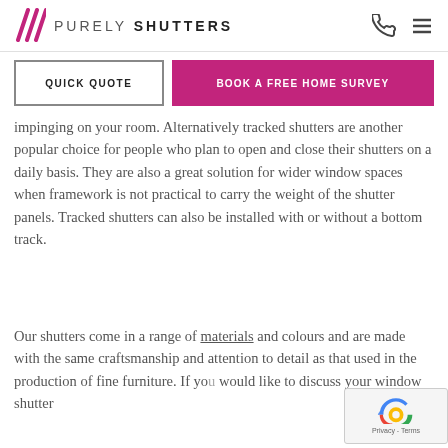PURELY SHUTTERS
QUICK QUOTE | BOOK A FREE HOME SURVEY
impinging on your room. Alternatively tracked shutters are another popular choice for people who plan to open and close their shutters on a daily basis. They are also a great solution for wider window spaces when framework is not practical to carry the weight of the shutter panels. Tracked shutters can also be installed with or without a bottom track.
Our shutters come in a range of materials and colours and are made with the same craftsmanship and attention to detail as that used in the production of fine furniture. If you would like to discuss your window shutter